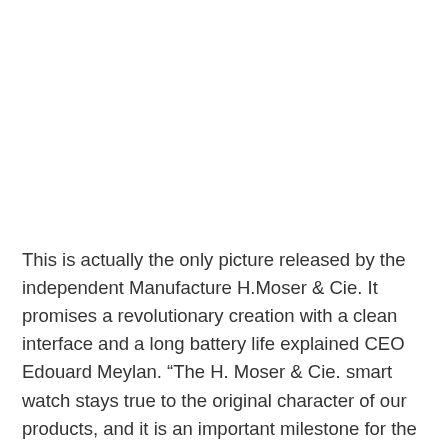This is actually the only picture released by the independent Manufacture H.Moser & Cie. It promises a revolutionary creation with a clean interface and a long battery life explained CEO Edouard Meylan. “The H. Moser & Cie. smart watch stays true to the original character of our products, and it is an important milestone for the future of the Swiss watch industry.”. This first “Haute Horlogerie” Smart Watch timepiece will be presented on Mach 9th.